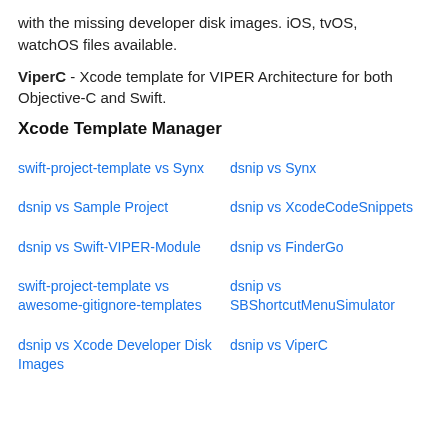with the missing developer disk images. iOS, tvOS, watchOS files available.
ViperC - Xcode template for VIPER Architecture for both Objective-C and Swift.
Xcode Template Manager
swift-project-template vs Synx
dsnip vs Synx
dsnip vs Sample Project
dsnip vs XcodeCodeSnippets
dsnip vs Swift-VIPER-Module
dsnip vs FinderGo
swift-project-template vs awesome-gitignore-templates
dsnip vs SBShortcutMenuSimulator
dsnip vs Xcode Developer Disk Images
dsnip vs ViperC